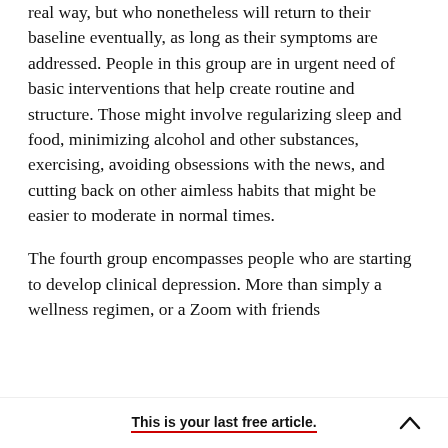real way, but who nonetheless will return to their baseline eventually, as long as their symptoms are addressed. People in this group are in urgent need of basic interventions that help create routine and structure. Those might involve regularizing sleep and food, minimizing alcohol and other substances, exercising, avoiding obsessions with the news, and cutting back on other aimless habits that might be easier to moderate in normal times.

The fourth group encompasses people who are starting to develop clinical depression. More than simply a wellness regimen, or a Zoom with friends
This is your last free article.